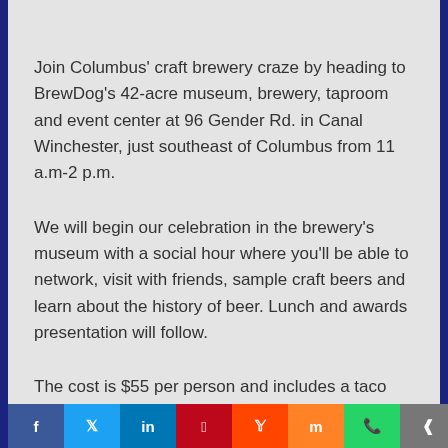Join Columbus' craft brewery craze by heading to BrewDog's 42-acre museum, brewery, taproom and event center at 96 Gender Rd. in Canal Winchester, just southeast of Columbus from 11 a.m-2 p.m.
We will begin our celebration in the brewery's museum with a social hour where you'll be able to network, visit with friends, sample craft beers and learn about the history of beer. Lunch and awards presentation will follow.
The cost is $55 per person and includes a taco